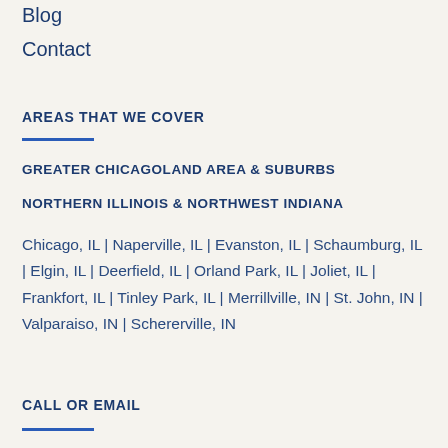Blog
Contact
AREAS THAT WE COVER
GREATER CHICAGOLAND AREA & SUBURBS
NORTHERN ILLINOIS & NORTHWEST INDIANA
Chicago, IL | Naperville, IL | Evanston, IL | Schaumburg, IL | Elgin, IL | Deerfield, IL | Orland Park, IL | Joliet, IL | Frankfort, IL | Tinley Park, IL | Merrillville, IN | St. John, IN | Valparaiso, IN | Schererville, IN
CALL OR EMAIL